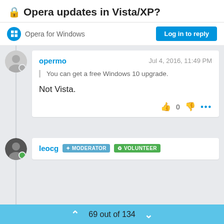🔒Opera updates in Vista/XP?
Opera for Windows
Log in to reply
opermo
Jul 4, 2016, 11:49 PM
You can get a free Windows 10 upgrade.
Not Vista.
0
leocg
MODERATOR
VOLUNTEER
69 out of 134